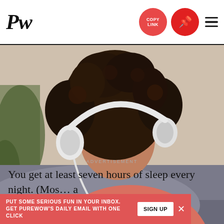PW
[Figure (photo): Woman with curly hair lying on a couch wearing a salmon/pink striped long-sleeve top and headphones, holding a tablet, eyes closed listening to music]
You get at least seven hours of sleep every night. (Mos... a
ADVERTISEMENT
PUT SOME SERIOUS FUN IN YOUR INBOX. GET PUREWOW'S DAILY EMAIL WITH ONE CLICK
SIGN UP